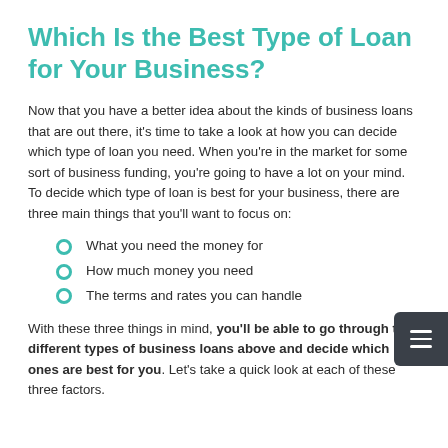Which Is the Best Type of Loan for Your Business?
Now that you have a better idea about the kinds of business loans that are out there, it's time to take a look at how you can decide which type of loan you need. When you're in the market for some sort of business funding, you're going to have a lot on your mind. To decide which type of loan is best for your business, there are three main things that you'll want to focus on:
What you need the money for
How much money you need
The terms and rates you can handle
With these three things in mind, you'll be able to go through the different types of business loans above and decide which ones are best for you. Let's take a quick look at each of these three factors.